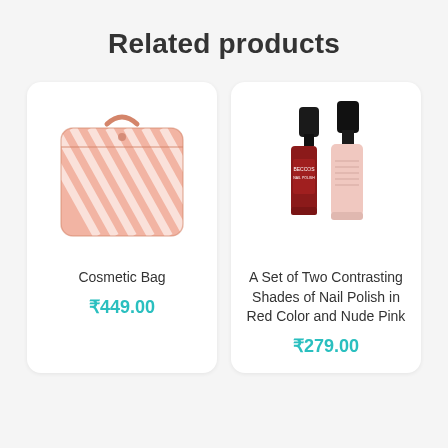Related products
[Figure (illustration): Pink striped cosmetic bag with handle]
Cosmetic Bag
₹449.00
[Figure (illustration): Two nail polish bottles - one red (BECCOS) and one nude pink]
A Set of Two Contrasting Shades of Nail Polish in Red Color and Nude Pink
₹279.00